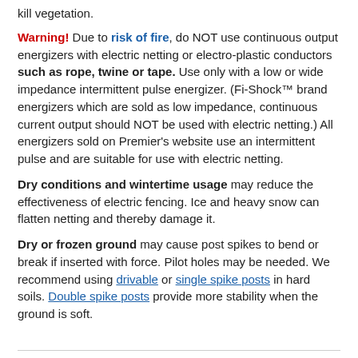kill vegetation.
Warning! Due to risk of fire, do NOT use continuous output energizers with electric netting or electro-plastic conductors such as rope, twine or tape. Use only with a low or wide impedance intermittent pulse energizer. (Fi-Shock™ brand energizers which are sold as low impedance, continuous current output should NOT be used with electric netting.) All energizers sold on Premier's website use an intermittent pulse and are suitable for use with electric netting.
Dry conditions and wintertime usage may reduce the effectiveness of electric fencing. Ice and heavy snow can flatten netting and thereby damage it.
Dry or frozen ground may cause post spikes to bend or break if inserted with force. Pilot holes may be needed. We recommend using drivable or single spike posts in hard soils. Double spike posts provide more stability when the ground is soft.